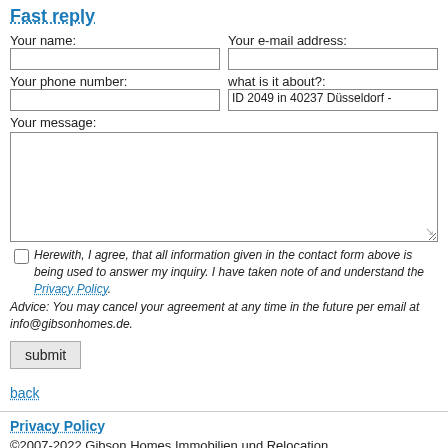Fast reply
Your name:
Your e-mail address:
Your phone number:
what is it about?:
ID 2049 in 40237  Düsseldorf -
Your message:
Herewith, I agree, that all information given in the contact form above is being used to answer my inquiry. I have taken note of and understand the Privacy Policy. Advice: You may cancel your agreement at any time in the future per email at info@gibsonhomes.de.
submit
back
Privacy Policy
©2007-2022 Gibson Homes Immobilien und Relocation